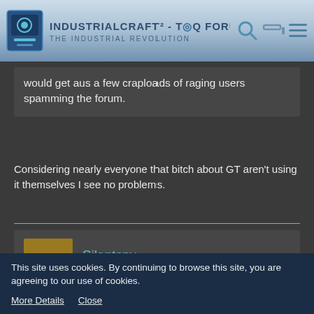IndustrialCraft² - The Forum - The Industrial Revolution
would get aus a few craploads of raging users spamming the forum.
Considering nearly everyone that bitch about GT aren't using it themselves I see no problems.
Silentspy
Tree Cutter
Oct 23rd 2013
This site uses cookies. By continuing to browse this site, you are agreeing to our use of cookies.
More Details   Close